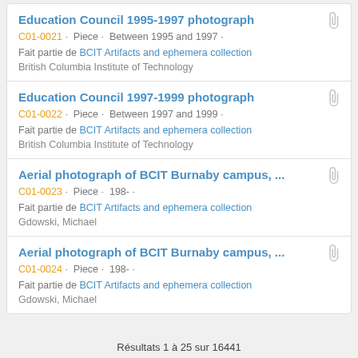Education Council 1995-1997 photograph
C01-0021 · Piece · Between 1995 and 1997 ·
Fait partie de BCIT Artifacts and ephemera collection
British Columbia Institute of Technology
Education Council 1997-1999 photograph
C01-0022 · Piece · Between 1997 and 1999 ·
Fait partie de BCIT Artifacts and ephemera collection
British Columbia Institute of Technology
Aerial photograph of BCIT Burnaby campus, ...
C01-0023 · Piece · 198- ·
Fait partie de BCIT Artifacts and ephemera collection
Gdowski, Michael
Aerial photograph of BCIT Burnaby campus, ...
C01-0024 · Piece · 198- ·
Fait partie de BCIT Artifacts and ephemera collection
Gdowski, Michael
Résultats 1 à 25 sur 16441